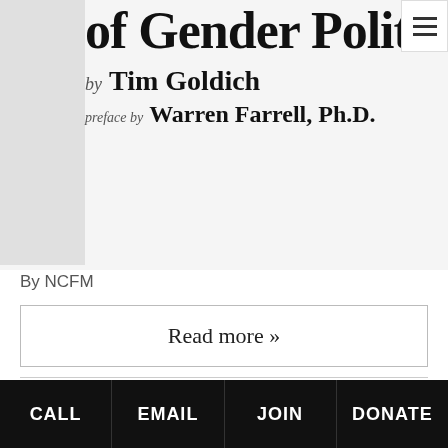[Figure (illustration): Partial view of a book cover showing 'of Gender Politics by Tim Goldich, preface by Warren Farrell, Ph.D.' with a faint illustration in the background]
By NCFM
Read more »
Tags: gender politics, it all balances out, Tim Goldich, war against men, war against women
Posted in Authors, Gender Politics, It All Balances Out, NCFM, Tim Goldich, War Against Men, War Against Women | No Comments »
CALL | EMAIL | JOIN | DONATE